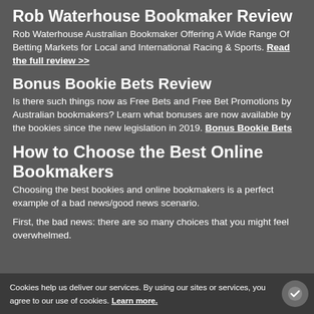Rob Waterhouse Bookmaker Review
Rob Waterhouse Australian Bookmaker Offering A Wide Range Of Betting Markets for Local and International Racing & Sports. Read the full review >>
Bonus Bookie Bets Review
Is there such things now as Free Bets and Free Bet Promotions by Australian bookmakers? Learn what bonuses are now available by the bookies since the new legislation in 2019. Bonus Bookie Bets
How to Choose the Best Online Bookmakers
Choosing the best bookies and online bookmakers is a perfect example of a bad news/good news scenario.
First, the bad news: there are so many choices that you might feel overwhelmed.
Cookies help us deliver our services. By using our sites or services, you agree to our use of cookies. Learn more.